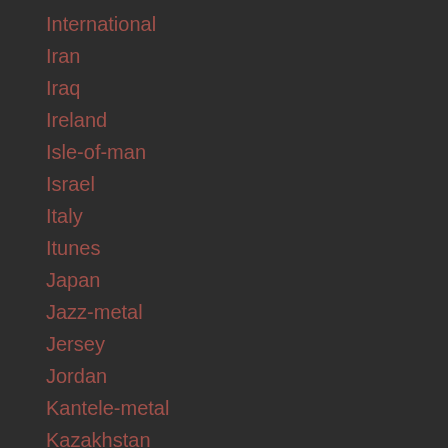International
Iran
Iraq
Ireland
Isle-of-man
Israel
Italy
Itunes
Japan
Jazz-metal
Jersey
Jordan
Kantele-metal
Kazakhstan
Kenya
Kyrgyzstan
Label Signing
Label Signing
Laos
Lapland